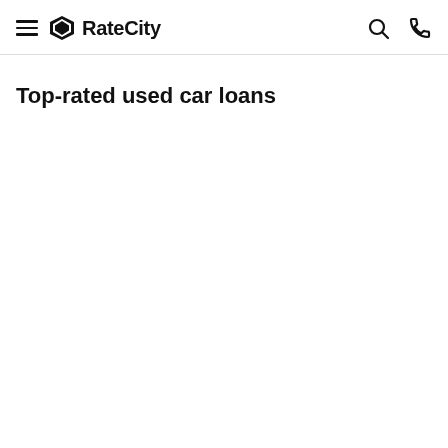RateCity
Top-rated used car loans